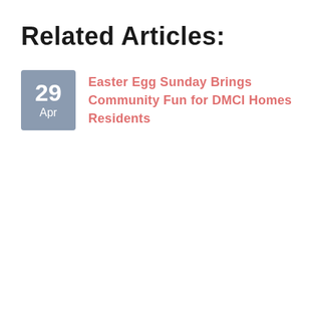Related Articles:
29 Apr — Easter Egg Sunday Brings Community Fun for DMCI Homes Residents